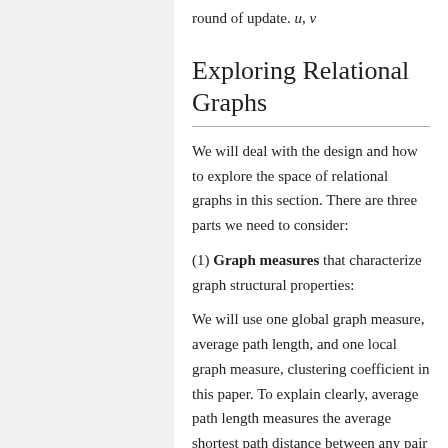round of update. u, v
Exploring Relational Graphs
We will deal with the design and how to explore the space of relational graphs in this section. There are three parts we need to consider:
(1) Graph measures that characterize graph structural properties:
We will use one global graph measure, average path length, and one local graph measure, clustering coefficient in this paper. To explain clearly, average path length measures the average shortest path distance between any pair of nodes; the clustering coefficient measures the proportion of edges